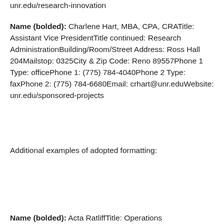unr.edu/research-innovation
Name (bolded): Charlene Hart, MBA, CPA, CRATitle: Assistant Vice PresidentTitle continued: Research AdministrationBuilding/Room/Street Address: Ross Hall 204Mailstop: 0325City & Zip Code: Reno 89557Phone 1 Type: officePhone 1: (775) 784-4040Phone 2 Type: faxPhone 2: (775) 784-6680Email: crhart@unr.eduWebsite: unr.edu/sponsored-projects
Additional examples of adopted formatting:
Name (bolded): Acta RatliffTitle: Operations